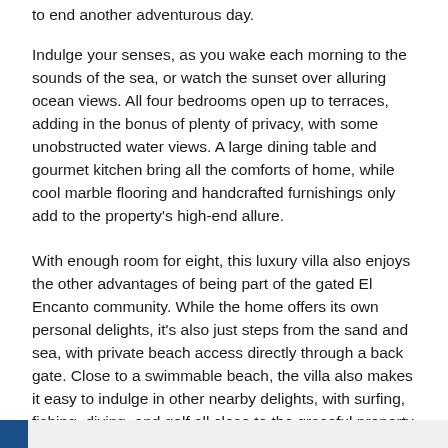to end another adventurous day.
Indulge your senses, as you wake each morning to the sounds of the sea, or watch the sunset over alluring ocean views. All four bedrooms open up to terraces, adding in the bonus of plenty of privacy, with some unobstructed water views. A large dining table and gourmet kitchen bring all the comforts of home, while cool marble flooring and handcrafted furnishings only add to the property's high-end allure.
With enough room for eight, this luxury villa also enjoys the other advantages of being part of the gated El Encanto community. While the home offers its own personal delights, it's also just steps from the sand and sea, with private beach access directly through a back gate. Close to a swimmable beach, the villa also makes it easy to indulge in other nearby delights, with surfing, fishing, diving, and golf all close to the graceful property.